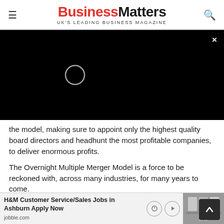Business Matters — UK'S LEADING BUSINESS MAGAZINE
[Figure (screenshot): Black video player area with loading spinner circle and close (×) button in top right corner]
the model, making sure to appoint only the highest quality board directors and headhunt the most profitable companies, to deliver enormous profits.
The Overnight Multiple Merger Model is a force to be reckoned with, across many industries, for many years to come.
Feisal Nahaboo is a UK-based entrepreneur and business visionary. In his forthcoming book 'How to build a Top 12 business in 256 days', he discloses for the fi... merge...
[Figure (screenshot): Advertisement overlay: H&M Customer Service/Sales Jobs in Ashburn Apply Now — jobble.com, with retail store image and navigation icons]